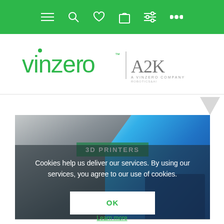Navigation bar with menu, search, wishlist, cart, filters, more icons
[Figure (logo): Vinzero logo with tagline and A2K a Vinzero Company logo]
[Figure (photo): 3D printer printing blue plastic object, with 3D PRINTERS label overlay]
Cookies help us deliver our services. By using our services, you agree to our use of cookies.
OK
Learn more